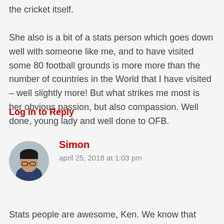the cricket itself.

She also is a bit of a stats person which goes down well with someone like me, and to have visited some 80 football grounds is more more than the number of countries in the World that I have visited – well slightly more! But what strikes me most is her obvious passion, but also compassion. Well done, young lady and well done to OFB.
Log in to Reply
[Figure (photo): Avatar photo of commenter Simon — a young man with dark hair and glasses wearing a dark shirt]
Simon
april 25, 2018 at 1:03 pm
Stats people are awesome, Ken. We know that